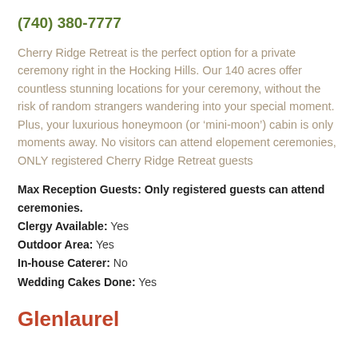(740) 380-7777
Cherry Ridge Retreat is the perfect option for a private ceremony right in the Hocking Hills. Our 140 acres offer countless stunning locations for your ceremony, without the risk of random strangers wandering into your special moment. Plus, your luxurious honeymoon (or ‘mini-moon’) cabin is only moments away. No visitors can attend elopement ceremonies, ONLY registered Cherry Ridge Retreat guests
Max Reception Guests: Only registered guests can attend ceremonies.
Clergy Available: Yes
Outdoor Area: Yes
In-house Caterer: No
Wedding Cakes Done: Yes
Glenlaurel